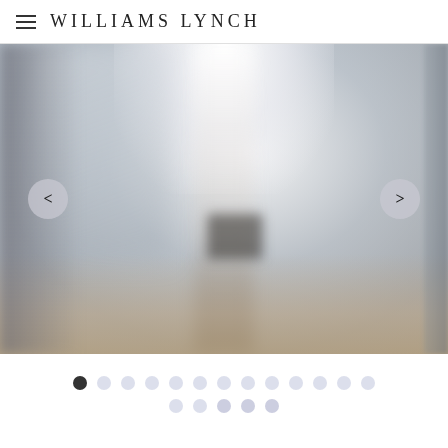WILLIAMS LYNCH
[Figure (photo): Blurred interior room photo used as an image carousel slide, with navigation arrows (< and >) on left and right sides. Partially visible slides on left and right edges.]
[Figure (infographic): Carousel dot navigation indicators: 13 dots in top row (first dot filled/active, rest light purple), 5 dots in bottom row (all light purple)]